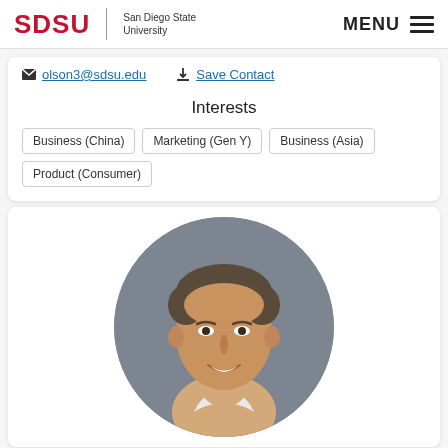SDSU San Diego State University | MENU
olson3@sdsu.edu | Save Contact
Interests
Business (China)
Marketing (Gen Y)
Business (Asia)
Product (Consumer)
[Figure (photo): Circular headshot portrait of a middle-aged man with short dark hair, smiling, wearing a light-colored shirt, against a gray background.]